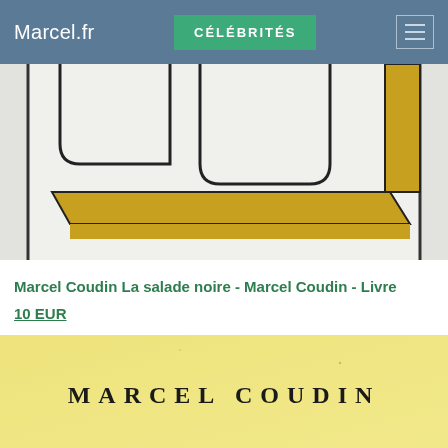Marcel.fr  CÉLÉBRITÉS
[Figure (illustration): Partial view of a book cover with geometric shapes: white/light grey background with black outlines forming rounded rectangular shapes, and a gold/yellow trapezoidal shelf-like shape at the bottom.]
Marcel Coudin La salade noire - Marcel Coudin - Livre
10 EUR
[Figure (photo): Photograph of a yellowed/cream book title page showing 'MARCEL COUDIN' in large spaced serif capital letters on a yellowed paper background.]